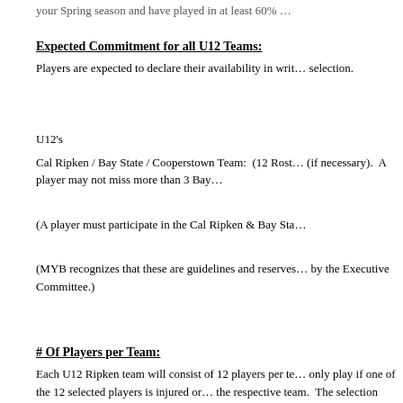your Spring season and have played in at least 60% ...
Expected Commitment for all U12 Teams:
Players are expected to declare their availability in writing prior to selection.
U12's
Cal Ripken / Bay State / Cooperstown Team:  (12 Roster... (if necessary).  A player may not miss more than 3 Bay...
(A player must participate in the Cal Ripken & Bay Sta...
(MYB recognizes that these are guidelines and reserves... by the Executive Committee.)
# Of Players per Team:
Each U12 Ripken team will consist of 12 players per te... only play if one of the 12 selected players is injured or... the respective team.  The selection committee must app... board is the only way to change the number of players...